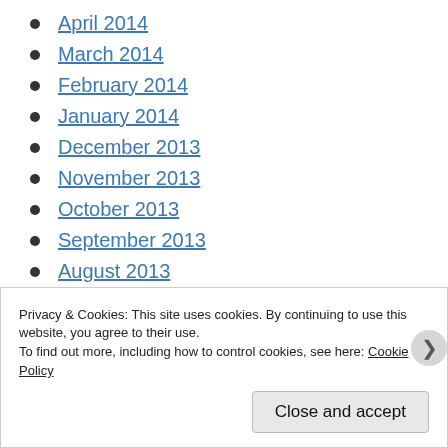April 2014
March 2014
February 2014
January 2014
December 2013
November 2013
October 2013
September 2013
August 2013
July 2013
June 2013
May 2013
Privacy & Cookies: This site uses cookies. By continuing to use this website, you agree to their use.
To find out more, including how to control cookies, see here: Cookie Policy